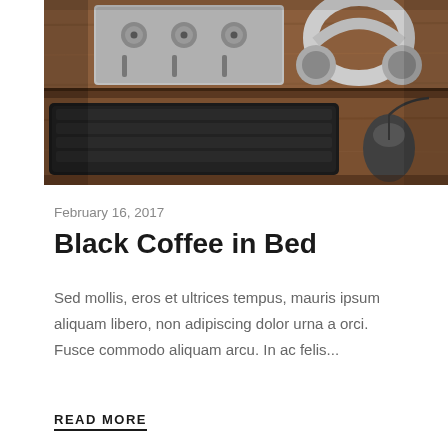[Figure (photo): A wooden studio desk with a black keyboard, audio mixer/controller with knobs, over-ear headphones, and a computer mouse on a dark wooden surface.]
February 16, 2017
Black Coffee in Bed
Sed mollis, eros et ultrices tempus, mauris ipsum aliquam libero, non adipiscing dolor urna a orci. Fusce commodo aliquam arcu. In ac felis...
READ MORE